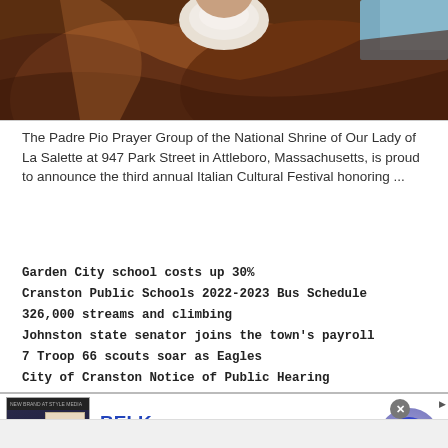[Figure (photo): Partial image of a classical painting or portrait, showing brownish/dark tones with a light-colored patch, possibly a figure with white collar or headpiece against a dark brown background.]
The Padre Pio Prayer Group of the National Shrine of Our Lady of La Salette at 947 Park Street in Attleboro, Massachusetts, is proud to announce the third annual Italian Cultural Festival honoring ...
Garden City school costs up 30%
Cranston Public Schools 2022-2023 Bus Schedule
326,000 streams and climbing
Johnston state senator joins the town's payroll
7 Troop 66 scouts soar as Eagles
City of Cranston Notice of Public Hearing
[Figure (screenshot): Advertisement banner for BELK department store. Shows 'BELK' in large blue bold text, tagline 'Denim all day.' in grey, URL 'www.belk.com' in green. Left side has a small image of two women in denim clothing against dark background. Right side has a purple/blue circular arrow button.]